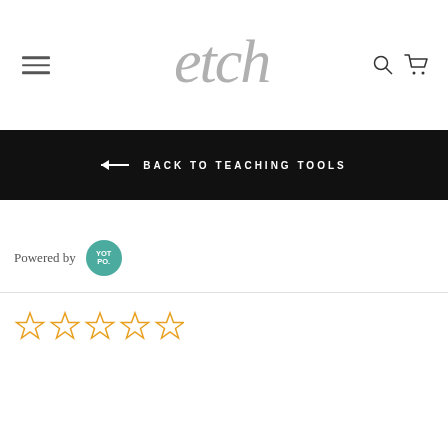[Figure (logo): Etch brand logo in cursive gray script font]
← BACK TO TEACHING TOOLS
Powered by Yotpo
[Figure (other): Five empty star rating icons in gold/orange outline]